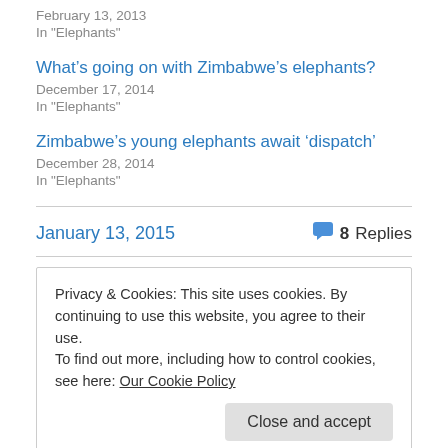February 13, 2013
In "Elephants"
What’s going on with Zimbabwe’s elephants?
December 17, 2014
In "Elephants"
Zimbabwe’s young elephants await ‘dispatch’
December 28, 2014
In "Elephants"
January 13, 2015
8 Replies
Privacy & Cookies: This site uses cookies. By continuing to use this website, you agree to their use.
To find out more, including how to control cookies, see here: Our Cookie Policy
Close and accept
Your email address will not be published. Required fields